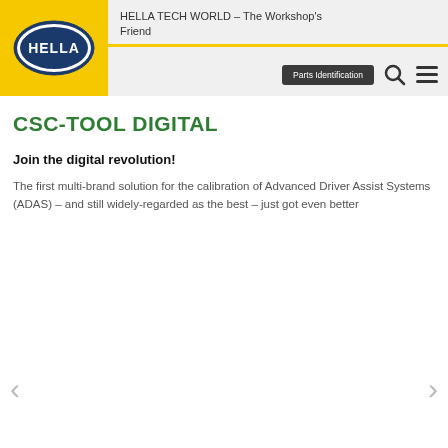HELLA TECH WORLD – The Workshop's Friend
CSC-TOOL DIGITAL
Join the digital revolution!
The first multi-brand solution for the calibration of Advanced Driver Assist Systems (ADAS) – and still widely-regarded as the best – just got even better